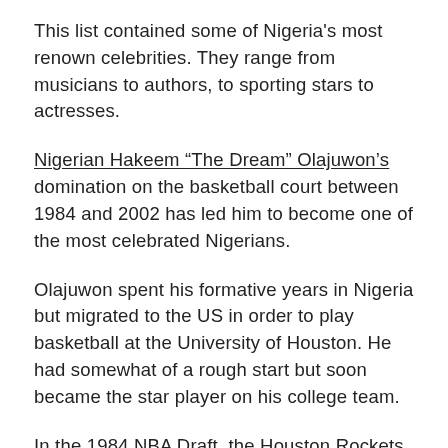This list contained some of Nigeria's most renown celebrities. They range from musicians to authors, to sporting stars to actresses.
Nigerian Hakeem “The Dream” Olajuwon’s domination on the basketball court between 1984 and 2002 has led him to become one of the most celebrated Nigerians.
Olajuwon spent his formative years in Nigeria but migrated to the US in order to play basketball at the University of Houston. He had somewhat of a rough start but soon became the star player on his college team.
In the 1984 NBA Draft, the Houston Rockets drafted him to play on their team. In 1994 and 1995, he